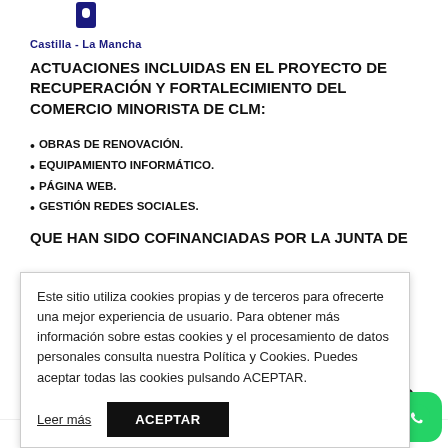[Figure (logo): Castilla-La Mancha regional government logo with blue shield icon and text]
ACTUACIONES INCLUIDAS EN EL PROYECTO DE RECUPERACIÓN Y FORTALECIMIENTO DEL COMERCIO MINORISTA DE CLM:
OBRAS DE RENOVACIÓN.
EQUIPAMIENTO INFORMÁTICO.
PÁGINA WEB.
GESTIÓN REDES SOCIALES.
QUE HAN SIDO COFINANCIADAS POR LA JUNTA DE
Este sitio utiliza cookies propias y de terceros para ofrecerte una mejor experiencia de usuario. Para obtener más información sobre estas cookies y el procesamiento de datos personales consulta nuestra Política y Cookies. Puedes aceptar todas las cookies pulsando ACEPTAR.
Leer más   ACEPTAR